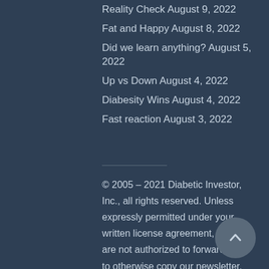Reality Check August 9, 2022
Fat and Happy August 8, 2022
Did we learn anything? August 5, 2022
Up vs Down August 4, 2022
Diabesity Wins August 4, 2022
Fast reaction August 3, 2022
© 2005 – 2021 Diabetic Investor, Inc., all rights reserved. Unless expressly permitted under your written license agreement, you are not authorized to forward or to otherwise copy our newsletter, or any portion thereof, by electronic means or otherwise. 17 U.S.C. §504 provides for statutory damages of up to $150,000 per infringement of a